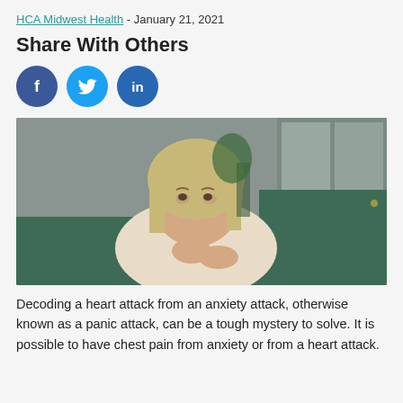HCA Midwest Health - January 21, 2021
Share With Others
[Figure (illustration): Three social media share buttons: Facebook (dark blue circle with 'f'), Twitter (blue circle with bird icon), LinkedIn (blue circle with 'in')]
[Figure (photo): A middle-aged woman with blonde hair sitting on a green sofa, looking worried or in pain, with her hand on her chest. Background shows a room with a window.]
Decoding a heart attack from an anxiety attack, otherwise known as a panic attack, can be a tough mystery to solve. It is possible to have chest pain from anxiety or from a heart attack.